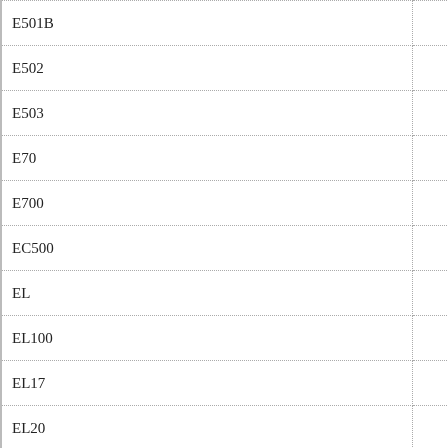| E501B |  |
| E502 |  |
| E503 |  |
| E70 |  |
| E700 |  |
| EC500 |  |
| EL |  |
| EL100 |  |
| EL17 |  |
| EL20 |  |
| EL200 |  |
| EL20I |  |